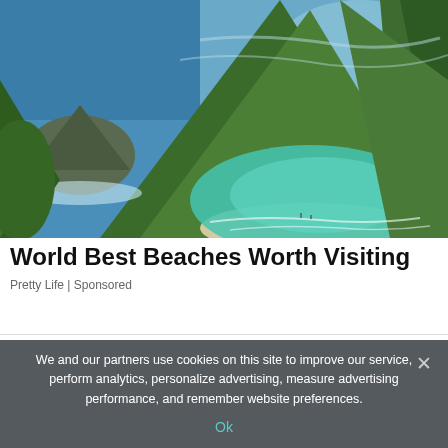[Figure (photo): Aerial view of a tropical beach with turquoise water, large green rocky cliffs and a small white sandy beach cove, with small rock formations visible in the ocean.]
World Best Beaches Worth Visiting
Pretty Life | Sponsored
We and our partners use cookies on this site to improve our service, perform analytics, personalize advertising, measure advertising performance, and remember website preferences.
Ok